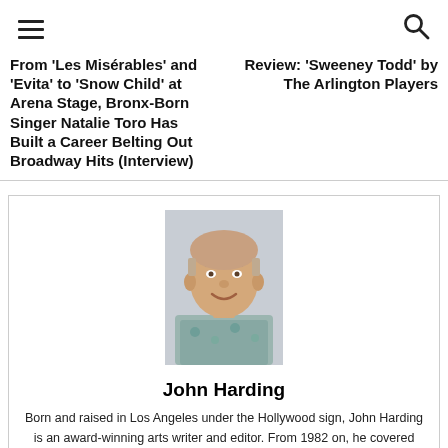☰ [menu icon] ... [search icon]
From 'Les Misérables' and 'Evita' to 'Snow Child' at Arena Stage, Bronx-Born Singer Natalie Toro Has Built a Career Belting Out Broadway Hits (Interview)
Review: 'Sweeney Todd' by The Arlington Players
[Figure (photo): Headshot photo of John Harding, a middle-aged man smiling, wearing a floral shirt, photographed indoors.]
John Harding
Born and raised in Los Angeles under the Hollywood sign, John Harding is an award-winning arts writer and editor. From 1982 on, he covered D.C. and Maryland theater for Patuxent Publishing, and served as arts editor for the Baltimore Sun Media Group until 2012.